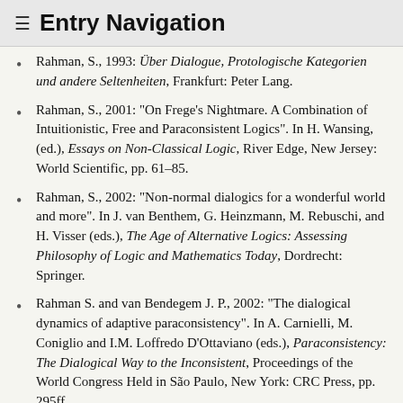≡ Entry Navigation
Rahman, S., 1993: Über Dialogue, Protologische Kategorien und andere Seltenheiten, Frankfurt: Peter Lang.
Rahman, S., 2001: "On Frege's Nightmare. A Combination of Intuitionistic, Free and Paraconsistent Logics". In H. Wansing, (ed.), Essays on Non-Classical Logic, River Edge, New Jersey: World Scientific, pp. 61–85.
Rahman, S., 2002: "Non-normal dialogics for a wonderful world and more". In J. van Benthem, G. Heinzmann, M. Rebuschi, and H. Visser (eds.), The Age of Alternative Logics: Assessing Philosophy of Logic and Mathematics Today, Dordrecht: Springer.
Rahman S. and van Bendegem J. P., 2002: "The dialogical dynamics of adaptive paraconsistency". In A. Carnielli, M. Coniglio and I.M. Loffredo D'Ottaviano (eds.), Paraconsistency: The Dialogical Way to the Inconsistent, Proceedings of the World Congress Held in São Paulo, New York: CRC Press, pp. 295ff.